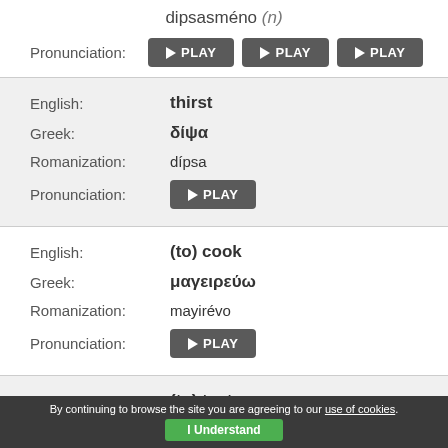dipsasméno (n)
Pronunciation: ▶PLAY ▶PLAY ▶PLAY
| Label | Value |
| --- | --- |
| English: | thirst |
| Greek: | δίψα |
| Romanization: | dípsa |
| Pronunciation: | ▶PLAY |
| Label | Value |
| --- | --- |
| English: | (to) cook |
| Greek: | μαγειρεύω |
| Romanization: | mayirévo |
| Pronunciation: | ▶PLAY |
English: (to) taste
By continuing to browse the site you are agreeing to our use of cookies. I Understand